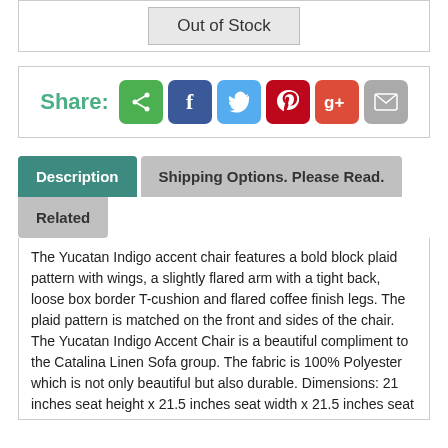Out of Stock
Share:
[Figure (infographic): Social share icons: share (green), Facebook (blue), Twitter (light blue), Pinterest (red), Google+ (red-orange), Mail (gray)]
Description
Shipping Options. Please Read.
Related
The Yucatan Indigo accent chair features a bold block plaid pattern with wings, a slightly flared arm with a tight back, loose box border T-cushion and flared coffee finish legs. The plaid pattern is matched on the front and sides of the chair. The Yucatan Indigo Accent Chair is a beautiful compliment to the Catalina Linen Sofa group. The fabric is 100% Polyester which is not only beautiful but also durable. Dimensions: 21 inches seat height x 21.5 inches seat width x 21.5 inches seat depth and 33 inches...